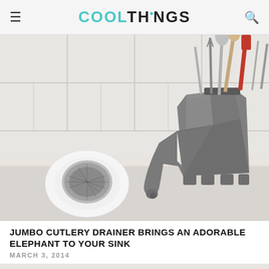COOLTHINGS
[Figure (photo): A gray geometric elephant-shaped cutlery drainer holding cooking utensils and silverware, sitting on a kitchen counter next to a small plate with a wire scrubber. White tile background.]
JUMBO CUTLERY DRAINER BRINGS AN ADORABLE ELEPHANT TO YOUR SINK
MARCH 3, 2014
[Figure (photo): Partial view of a second product image at the bottom of the page, showing a light-colored object against a white background.]